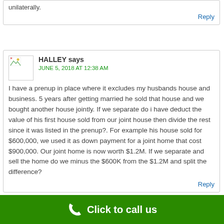unilaterally.
Reply
HALLEY says
JUNE 5, 2018 AT 12:38 AM
I have a prenup in place where it excludes my husbands house and business. 5 years after getting married he sold that house and we bought another house jointly. If we separate do i have deduct the value of his first house sold from our joint house then divide the rest since it was listed in the prenup?. For example his house sold for $600,000, we used it as down payment for a joint home that cost $900,000. Our joint home is now worth $1.2M. If we separate and sell the home do we minus the $600K from the $1.2M and split the difference?
Reply
Click to call us